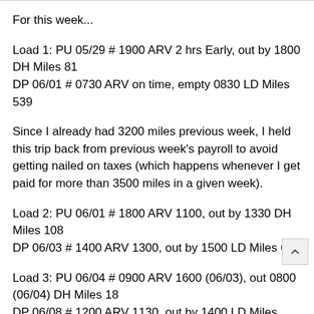For this week...
Load 1: PU 05/29 # 1900 ARV 2 hrs Early, out by 1800 DH Miles 81
DP 06/01 # 0730 ARV on time, empty 0830 LD Miles 539
Since I already had 3200 miles previous week, I held this trip back from previous week's payroll to avoid getting nailed on taxes (which happens whenever I get paid for more than 3500 miles in a given week).
Load 2: PU 06/01 # 1800 ARV 1100, out by 1330 DH Miles 108
DP 06/03 # 1400 ARV 1300, out by 1500 LD Miles 662
Load 3: PU 06/04 # 0900 ARV 1600 (06/03), out 0800 (06/04) DH Miles 18
DP 06/08 # 1200 ARV 1130, out by 1400 LD Miles 2069